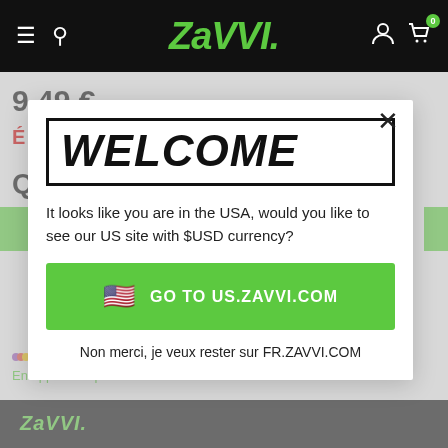ZAVVI navigation bar with hamburger menu, search, logo, account, and cart icons
9,49 €
[Figure (screenshot): Zavvi website background with price 9,49 € and partial page content behind modal overlay]
WELCOME
It looks like you are in the USA, would you like to see our US site with $USD currency?
GO TO US.ZAVVI.COM
Non merci, je veux rester sur FR.ZAVVI.COM
4 versements de 2,37 € avec Sezzle
En apprendre plus >